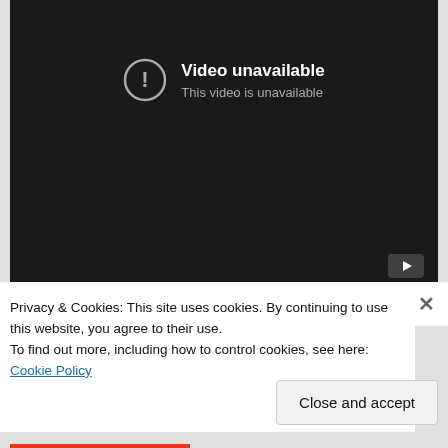[Figure (screenshot): YouTube embedded video player showing 'Video unavailable - This video is unavailable' error message on a dark background, with YouTube logo button at bottom right.]
Privacy & Cookies: This site uses cookies. By continuing to use this website, you agree to their use.
To find out more, including how to control cookies, see here: Cookie Policy
Close and accept